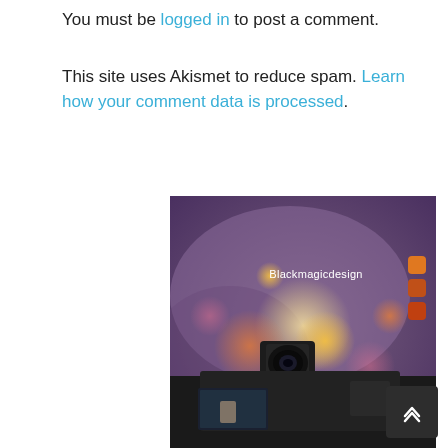You must be logged in to post a comment.
This site uses Akismet to reduce spam. Learn how your comment data is processed.
[Figure (photo): Advertisement showing a Blackmagic Design camera with bokeh background lighting and Blackmagic Design logo with orange squares in upper right.]